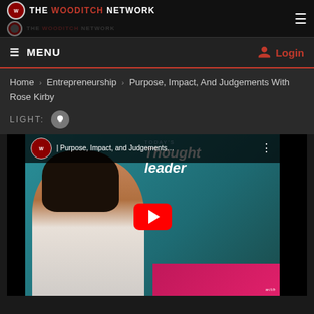THE WOODITCH NETWORK (logo/navigation header)
☰ MENU   Login
Home › Entrepreneurship › Purpose, Impact, And Judgements With Rose Kirby
LIGHT: 💡
[Figure (screenshot): YouTube video thumbnail for 'Purpose, Impact, and Judgements...' featuring a woman with black hair in a white tank top, with 'Today's Thought Leader' text and a YouTube play button overlay. The Wooditch Network logo appears in the top-left corner of the video player.]